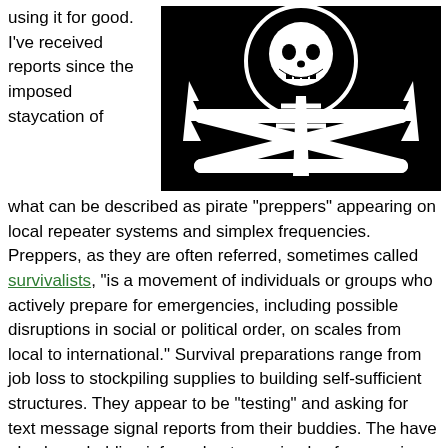using it for good. I've received reports since the imposed staycation of
[Figure (illustration): Black background image with a white skull and crossbones over a radio tower, with lightning bolt symbols on either side — pirate radio imagery.]
what can be described as pirate “preppers” appearing on local repeater systems and simplex frequencies. Preppers, as they are often referred, sometimes called survivalists, “is a movement of individuals or groups who actively prepare for emergencies, including possible disruptions in social or political order, on scales from local to international.” Survival preparations range from job loss to stockpiling supplies to building self-sufficient structures. They appear to be “testing” and asking for text message signal reports from their buddies. The have also been holding informal nets on simplex frequencies. It’s funny they want to communicate off-the-grid but are using the grid to receive text messages. Obviously, they don’t present a call sign and do not properly identify. One can